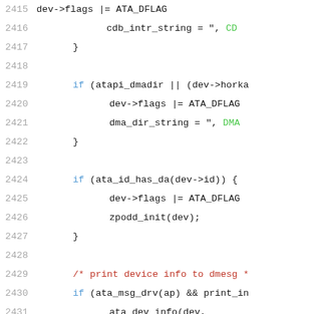[Figure (screenshot): Source code viewer showing C code lines 2415-2436 with line numbers on the left and syntax-highlighted code on the right. Line numbers are gray, keywords and identifiers are dark, string literals are green, comments are red/dark red.]